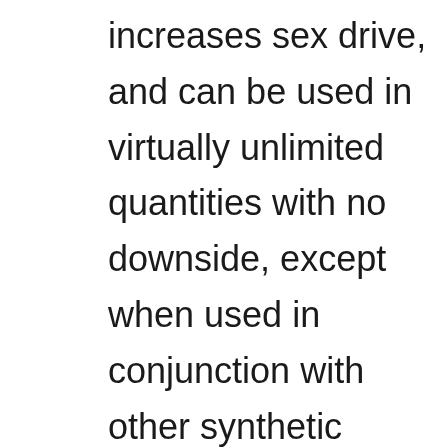increases sex drive, and can be used in virtually unlimited quantities with no downside, except when used in conjunction with other synthetic